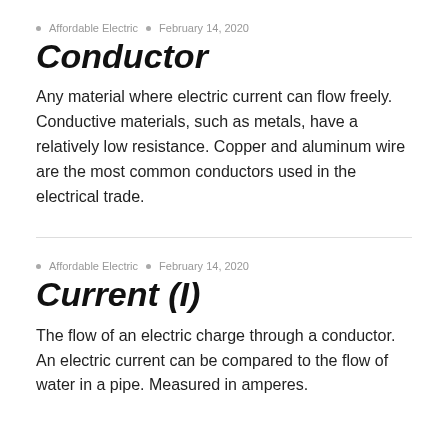Affordable Electric • February 14, 2020
Conductor
Any material where electric current can flow freely. Conductive materials, such as metals, have a relatively low resistance. Copper and aluminum wire are the most common conductors used in the electrical trade.
Affordable Electric • February 14, 2020
Current (I)
The flow of an electric charge through a conductor. An electric current can be compared to the flow of water in a pipe. Measured in amperes.